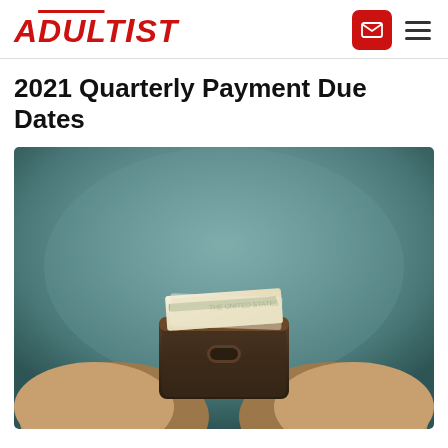ADULTIST
2021 Quarterly Payment Due Dates
[Figure (photo): Person holding open wallet with cash bills, photographed from above against a teal/grey background]